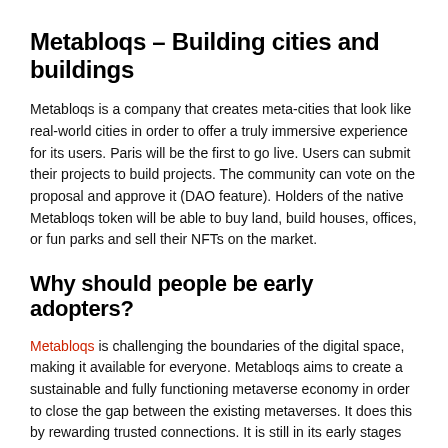Metabloqs – Building cities and buildings
Metabloqs is a company that creates meta-cities that look like real-world cities in order to offer a truly immersive experience for its users. Paris will be the first to go live. Users can submit their projects to build projects. The community can vote on the proposal and approve it (DAO feature). Holders of the native Metabloqs token will be able to buy land, build houses, offices, or fun parks and sell their NFTs on the market.
Why should people be early adopters?
Metabloqs is challenging the boundaries of the digital space, making it available for everyone. Metabloqs aims to create a sustainable and fully functioning metaverse economy in order to close the gap between the existing metaverses. It does this by rewarding trusted connections. It is still in its early stages and it will be difficult to get into the ecosystem.